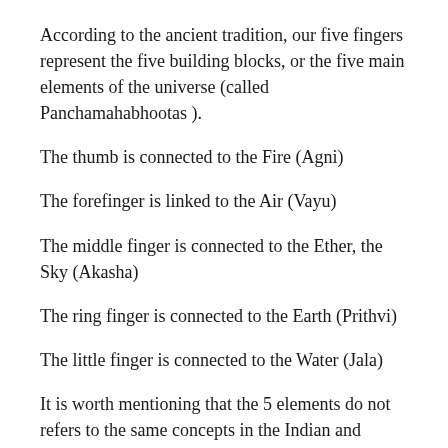According to the ancient tradition, our five fingers represent the five building blocks, or the five main elements of the universe (called Panchamahabhootas ).
The thumb is connected to the Fire (Agni)
The forefinger is linked to the Air (Vayu)
The middle finger is connected to the Ether, the Sky (Akasha)
The ring finger is connected to the Earth (Prithvi)
The little finger is connected to the Water (Jala)
It is worth mentioning that the 5 elements do not refers to the same concepts in the Indian and